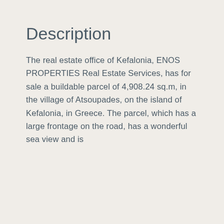Description
The real estate office of Kefalonia, ENOS PROPERTIES Real Estate Services, has for sale a buildable parcel of 4,908.24 sq.m,  in the village of Atsoupades, on the island of Kefalonia, in Greece. The parcel, which has a large frontage on the road, has a wonderful sea view and is [text continues below visible area]